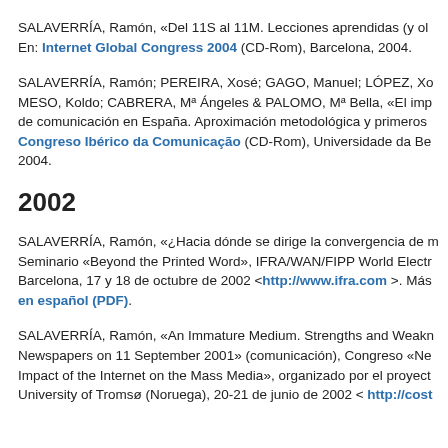SALAVERRÍA, Ramón, «Del 11S al 11M. Lecciones aprendidas (y olv… En: Internet Global Congress 2004 (CD-Rom), Barcelona, 2004.
SALAVERRÍA, Ramón; PEREIRA, Xosé; GAGO, Manuel; LÓPEZ, Xo… MESO, Koldo; CABRERA, Mª Ángeles & PALOMO, Mª Bella, «El imp… de comunicación en España. Aproximación metodológica y primeros … Congreso Ibérico da Comunicação (CD-Rom), Universidade da Be… 2004.
2002
SALAVERRÍA, Ramón, «¿Hacia dónde se dirige la convergencia de m… Seminario «Beyond the Printed Word», IFRA/WAN/FIPP World Electr… Barcelona, 17 y 18 de octubre de 2002 <http://www.ifra.com >. Más… en español (PDF).
SALAVERRÍA, Ramón, «An Immature Medium. Strengths and Weakn… Newspapers on 11 September 2001» (comunicación), Congreso «Ne… Impact of the Internet on the Mass Media», organizado por el proyect… University of Tromsø (Noruega), 20-21 de junio de 2002 < http://cost…